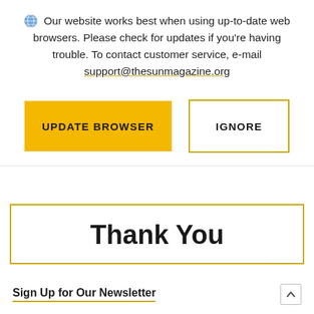Our website works best when using up-to-date web browsers. Please check for updates if you're having trouble. To contact customer service, e-mail support@thesunmagazine.org
[Figure (other): Two buttons: a yellow filled 'UPDATE BROWSER' button and an outlined 'IGNORE' button]
Thank You
Sign Up for Our Newsletter